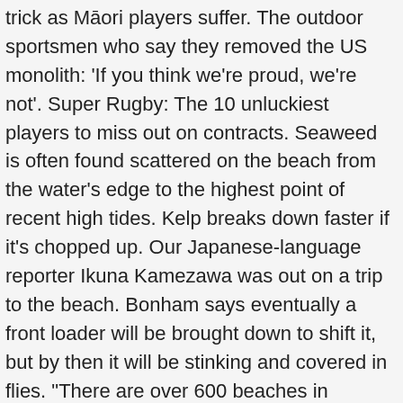trick as Māori players suffer. The outdoor sportsmen who say they removed the US monolith: 'If you think we're proud, we're not'. Super Rugby: The 10 unluckiest players to miss out on contracts. Seaweed is often found scattered on the beach from the water's edge to the highest point of recent high tides. Kelp breaks down faster if it's chopped up. Our Japanese-language reporter Ikuna Kamezawa was out on a trip to the beach. Bonham says eventually a front loader will be brought down to shift it, but by then it will be stinking and covered in flies. "There are over 600 beaches in Auckland, not all affected by seaweed, but it would be extremely expensive if all areas started requesting regular clean-ups.". 2 Individual plants can grow up to 20 metres in length and it is one of the fastest growing seaweed species in New Zealand - growing up to one metre each day. Throughout history gardeners in coastal regions have recognized the benefits of the slimy green "gold" that washes up along the shore. Maggy Wassilieff, 'Seaweed - Modern uses and future prospects', Te Ara - the Encyclopedia of